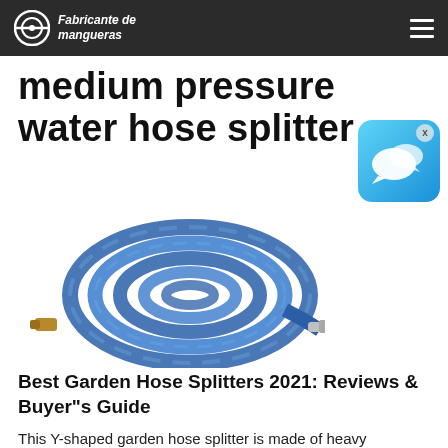Fabricante de mangueras
medium pressure water hose splitter
[Figure (photo): A coiled blue garden hose with brass fittings on both ends, displayed on a white background.]
[Figure (other): A chat/messaging app icon popup with a blue gradient background and speech bubble icons, with an X close button.]
Best Garden Hose Splitters 2021: Reviews & Buyer"s Guide
This Y-shaped garden hose splitter is made of heavy